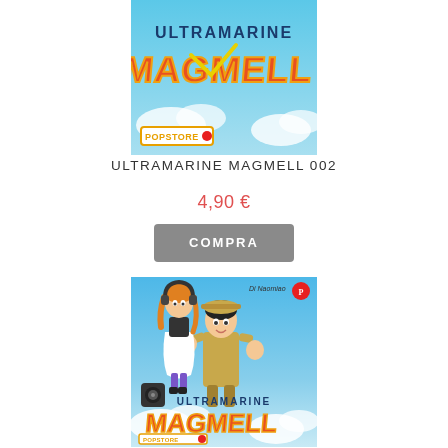[Figure (illustration): Top portion of manga book cover for Ultramarine Magmell 002, showing the title text and a POPSTORE badge at bottom left. Blue sky background with manga-style title lettering.]
ULTRAMARINE MAGMELL 002
4,90 €
COMPRA
[Figure (illustration): Full manga book cover for Ultramarine Magmell showing two anime characters (a girl with orange hair and headphones in a white dress, and a boy in a military-style outfit) against a blue sky background. Title 'ULTRAMARINE MAGMELL' displayed at the bottom in stylized orange lettering. POPSTORE badge at bottom left and Panel publisher logo at top right. Author 'Di Naomiao' noted at top right.]